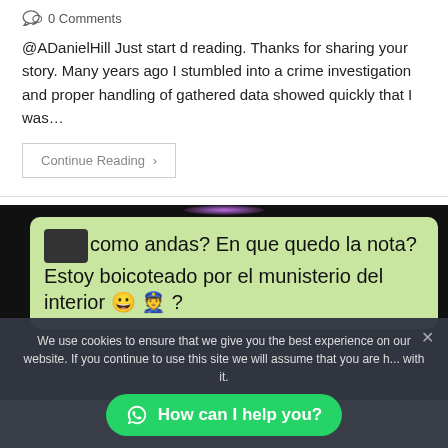0 Comments
@ADanielHill Just start d reading. Thanks for sharing your story. Many years ago I stumbled into a crime investigation and proper handling of gathered data showed quickly that I was…
Continue Reading ›
[Figure (screenshot): WhatsApp chat message screenshot with Spanish text: 'como andas? En que quedo la nota? Estoy boicoteado por el munisterio del interior 😀 👮 ?' with a blurred avatar on a green chat bubble, dark background, purple glow at top.]
We use cookies to ensure that we give you the best experience on our website. If you continue to use this site we will assume that you are h... with it.
How can I help you?